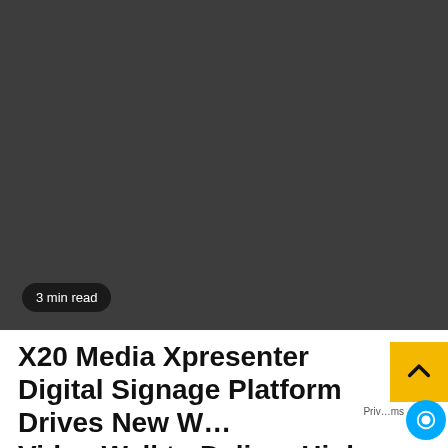[Figure (photo): Dark gray/charcoal colored rectangular image area serving as a thumbnail or hero image placeholder]
3 min read
X20 Media Xpresenter Digital Signage Platform Drives New W… Video Wall to Deliver High-Tech